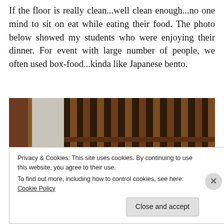If the floor is really clean...well clean enough...no one mind to sit on eat while eating their food. The photo below showed my students who were enjoying their dinner. For event with large number of people, we often used box-food...kinda like Japanese bento.
[Figure (photo): Group photo of students sitting on the floor eating dinner in front of a wooden door/gate at night.]
Privacy & Cookies: This site uses cookies. By continuing to use this website, you agree to their use.
To find out more, including how to control cookies, see here: Cookie Policy